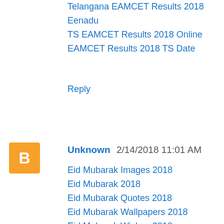Schools TS EAMCET Result 2018
Telangana EAMCET Results 2018 Eenadu
TS EAMCET Results 2018 Online
EAMCET Results 2018 TS Date
Reply
Unknown  2/14/2018 11:01 AM
Eid Mubarak Images 2018
Eid Mubarak 2018
Eid Mubarak Quotes 2018
Eid Mubarak Wallpapers 2018
Eid Mubarak Wishes 2018
Assam HSLC Result 2018
Assam 10th Result 2018
Assam Board Result 2018
SEBA HSLC Result 2018
SEBA 10th HSLC Result 2018
Assam HSLC Result 2018 Date
AHM 10th Result 2018 Date
Assam HSLC Compartment Result 2018
Meghalaya Election Results 2018